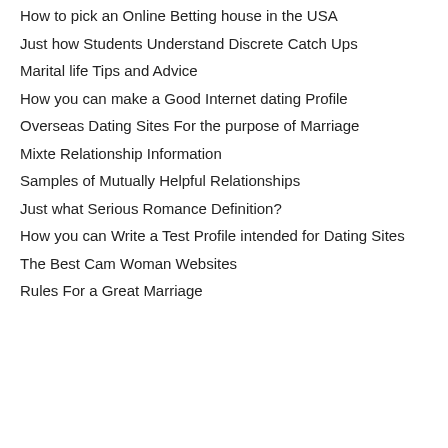How to pick an Online Betting house in the USA
Just how Students Understand Discrete Catch Ups
Marital life Tips and Advice
How you can make a Good Internet dating Profile
Overseas Dating Sites For the purpose of Marriage
Mixte Relationship Information
Samples of Mutually Helpful Relationships
Just what Serious Romance Definition?
How you can Write a Test Profile intended for Dating Sites
The Best Cam Woman Websites
Rules For a Great Marriage